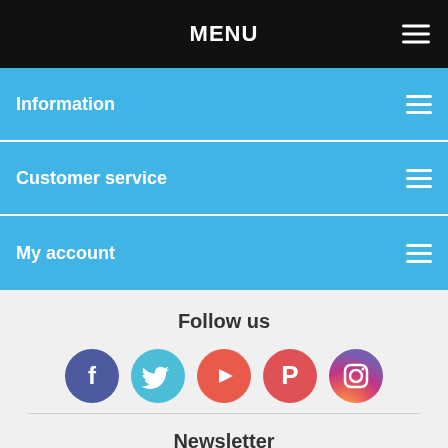MENU
Information
Customer service
My account
Follow us
[Figure (infographic): Row of five social media icons: Facebook (purple-blue circle with f), Twitter (teal circle with bird), YouTube (red-orange circle with play button), Pinterest (red circle with P), Instagram (gradient circle with camera icon)]
Newsletter